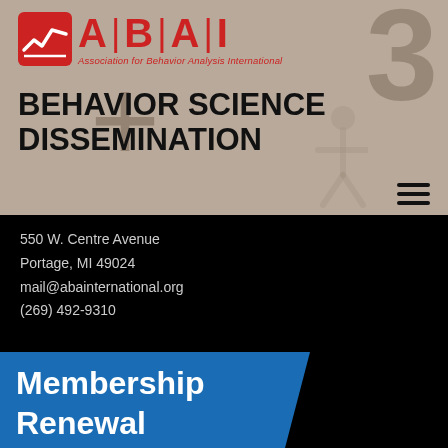[Figure (logo): ABAI logo — red square icon with line chart symbol, followed by red bold letters A|B|A|I with subtitle Association for Behavior Analysis International]
BEHAVIOR SCIENCE DISSEMINATION
550 W. Centre Avenue
Portage, MI 49024
mail@abainternational.org
(269) 492-9310
[Figure (infographic): Blue parallelogram/banner shape with white bold text reading 'Membership Renewal']